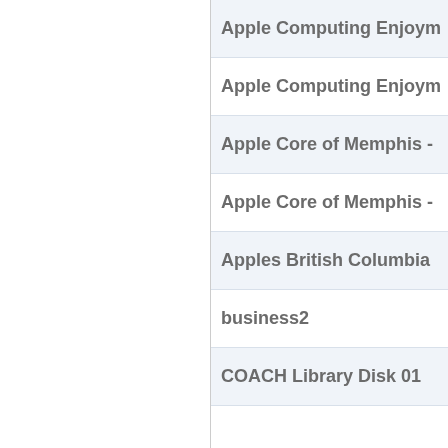| Name |
| --- |
| Apple Computing Enjoym... |
| Apple Computing Enjoym... |
| Apple Core of Memphis -... |
| Apple Core of Memphis -... |
| Apples British Columbia... |
| business2 |
| COACH Library Disk 01... |